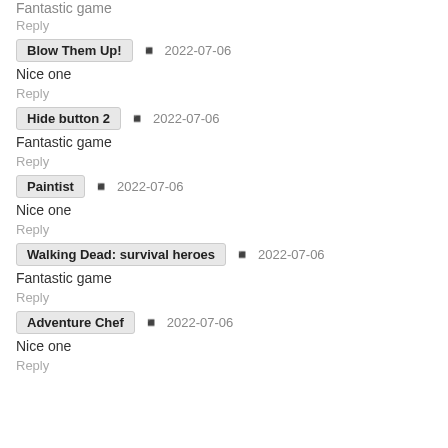Fantastic game
Reply
Blow Them Up!   2022-07-06
Nice one
Reply
Hide button 2   2022-07-06
Fantastic game
Reply
Paintist   2022-07-06
Nice one
Reply
Walking Dead: survival heroes   2022-07-06
Fantastic game
Reply
Adventure Chef   2022-07-06
Nice one
Reply